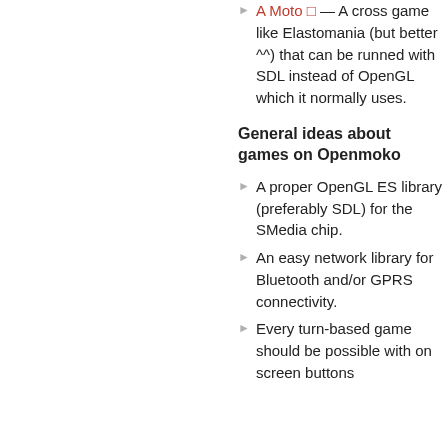A Moto □ — A cross game like Elastomania (but better ^^) that can be runned with SDL instead of OpenGL which it normally uses.
General ideas about games on Openmoko
A proper OpenGL ES library (preferably SDL) for the SMedia chip.
An easy network library for Bluetooth and/or GPRS connectivity.
Every turn-based game should be possible with on screen buttons